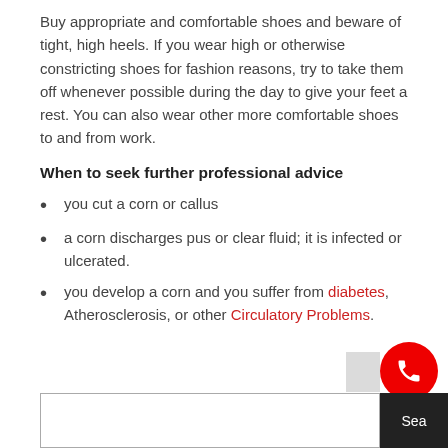Buy appropriate and comfortable shoes and beware of tight, high heels. If you wear high or otherwise constricting shoes for fashion reasons, try to take them off whenever possible during the day to give your feet a rest. You can also wear other more comfortable shoes to and from work.
When to seek further professional advice
you cut a corn or callus
a corn discharges pus or clear fluid; it is infected or ulcerated.
you develop a corn and you suffer from diabetes, Atherosclerosis, or other Circulatory Problems.